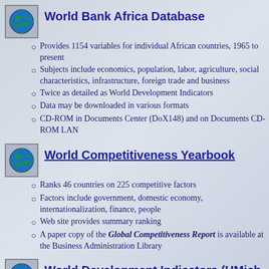World Bank Africa Database
Provides 1154 variables for individual African countries, 1965 to present
Subjects include economics, population, labor, agriculture, social characteristics, infrastructure, foreign trade and business
Twice as detailed as World Development Indicators
Data may be downloaded in various formats
CD-ROM in Documents Center (DoX148) and on Documents CD-ROM LAN
World Competitiveness Yearbook
Ranks 46 countries on 225 competitive factors
Factors include government, domestic economy, internationalization, finance, people
Web site provides summary ranking
A paper copy of the Global Competitiveness Report is available at the Business Administration Library
World Development Indicators (UMich Only)